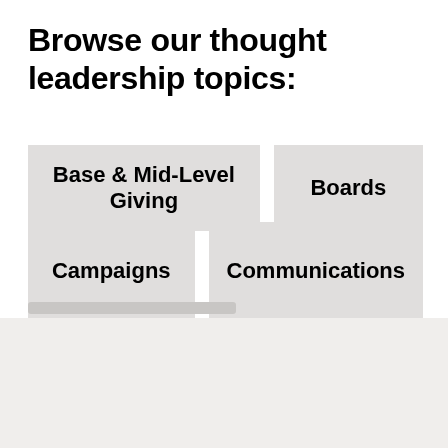Browse our thought leadership topics:
Base & Mid-Level Giving
Boards
Campaigns
Communications
We use cookies on our website to give you the most relevant experience by remembering your preferences and repeat visits. By clicking “Accept,” you consent to the use of ALL the cookies.
Do not sell my personal information.
Cookie settings
Accept